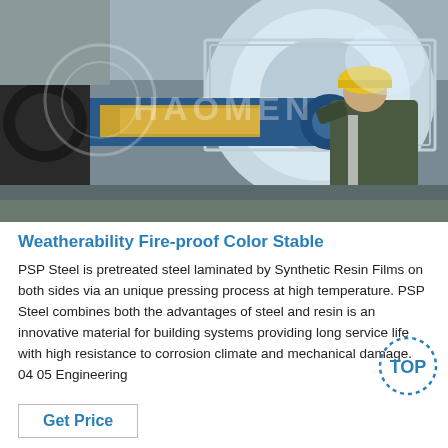[Figure (photo): Industrial worker wearing yellow hard hat and grey overalls inspecting or working on large industrial steel coil machinery with blue mechanical components in a factory setting. Watermark text overlay reads HAOMEN.]
Weatherability Fire-proof Color Stable
PSP Steel is pretreated steel laminated by Synthetic Resin Films on both sides via an unique pressing process at high temperature. PSP Steel combines both the advantages of steel and resin is an innovative material for building systems providing long service life with high resistance to corrosion climate and mechanical damage. 04 05 Engineering
Get Price